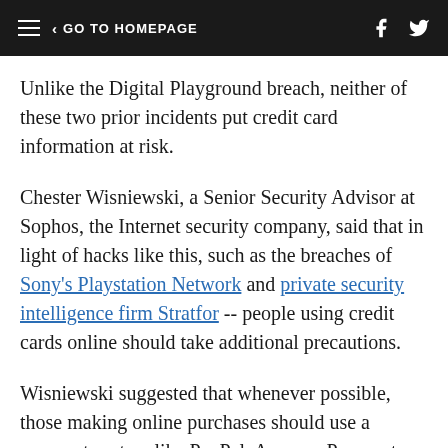GO TO HOMEPAGE
Unlike the Digital Playground breach, neither of these two prior incidents put credit card information at risk.
Chester Wisniewski, a Senior Security Advisor at Sophos, the Internet security company, said that in light of hacks like this, such as the breaches of Sony's Playstation Network and private security intelligence firm Stratfor -- people using credit cards online should take additional precautions.
Wisniewski suggested that whenever possible, those making online purchases should use a payment system like PayPal, Amazon Payments